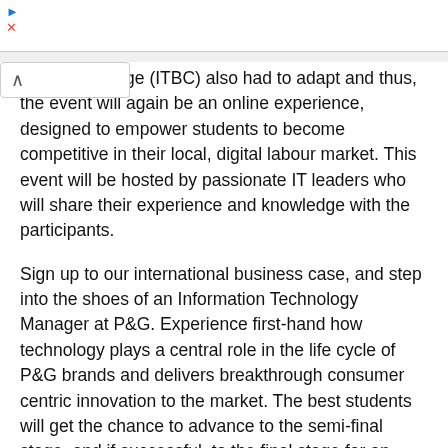iness Challenge (ITBC) also had to adapt and thus, the event will again be an online experience, designed to empower students to become competitive in their local, digital labour market. This event will be hosted by passionate IT leaders who will share their experience and knowledge with the participants.
Sign up to our international business case, and step into the shoes of an Information Technology Manager at P&G. Experience first-hand how technology plays a central role in the life cycle of P&G brands and delivers breakthrough consumer centric innovation to the market. The best students will get the chance to advance to the semi-final stage, and if successful, to the final stage for an unforgettable virtual experience.
WHO CAN APPLY?